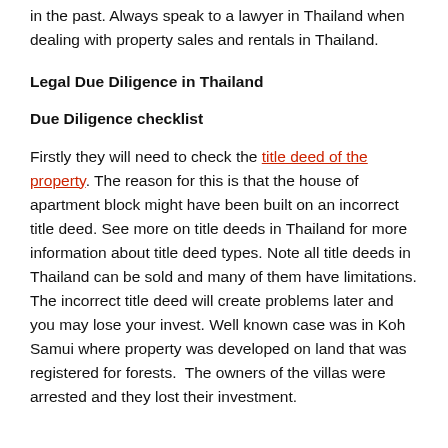in the past. Always speak to a lawyer in Thailand when dealing with property sales and rentals in Thailand.
Legal Due Diligence in Thailand
Due Diligence checklist
Firstly they will need to check the title deed of the property. The reason for this is that the house of apartment block might have been built on an incorrect title deed. See more on title deeds in Thailand for more information about title deed types. Note all title deeds in Thailand can be sold and many of them have limitations. The incorrect title deed will create problems later and you may lose your invest. Well known case was in Koh Samui where property was developed on land that was registered for forests.  The owners of the villas were arrested and they lost their investment.